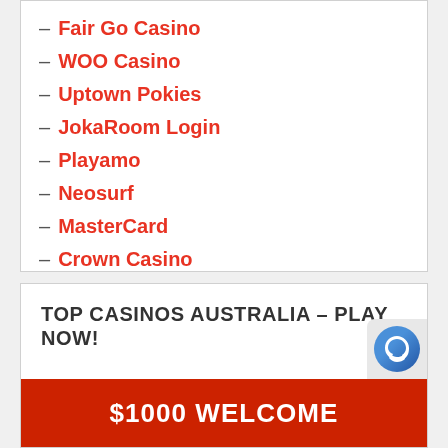– Fair Go Casino
– WOO Casino
– Uptown Pokies
– JokaRoom Login
– Playamo
– Neosurf
– MasterCard
– Crown Casino
– National Casino
– Online Casino Australia
– Casino Mate
TOP CASINOS AUSTRALIA – PLAY NOW!
$1000 WELCOME